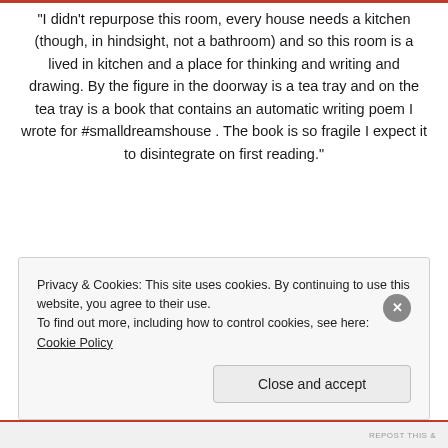“I didn’t repurpose this room, every house needs a kitchen (though, in hindsight, not a bathroom) and so this room is a lived in kitchen and a place for thinking and writing and drawing. By the figure in the doorway is a tea tray and on the tea tray is a book that contains an automatic writing poem I wrote for #smalldreamshouse . The book is so fragile I expect it to disintegrate on first reading.”
Privacy & Cookies: This site uses cookies. By continuing to use this website, you agree to their use.
To find out more, including how to control cookies, see here: Cookie Policy
Close and accept